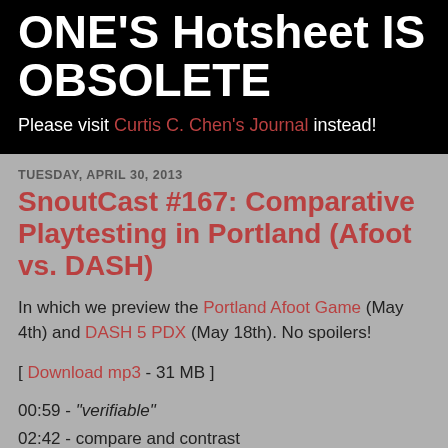ONE'S Hotsheet IS OBSOLETE
Please visit Curtis C. Chen's Journal instead!
TUESDAY, APRIL 30, 2013
SnoutCast #167: Comparative Playtesting in Portland (Afoot vs. DASH)
In which we preview the Portland Afoot Game (May 4th) and DASH 5 PDX (May 18th). No spoilers!
[ Download mp3 - 31 MB ]
00:59 - "verifiable"
02:42 - compare and contrast
05:00 - cisgendered team formation